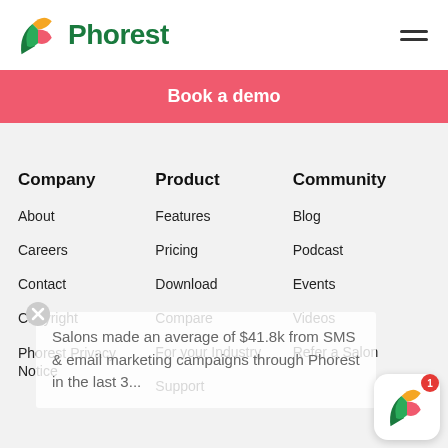[Figure (logo): Phorest logo: colorful P icon (green, orange, red/pink segments) with dark green text 'Phorest']
[Figure (other): Hamburger menu icon (three horizontal lines)]
Book a demo
Company
About
Careers
Contact
Copyright
Phorest Privacy Notice
Product
Features
Pricing
Download
Compare
For your Industry
Support
Community
Blog
Podcast
Events
Videos
Refer a Salon
Salons made an average of $41.8k from SMS & email marketing campaigns through Phorest in the last 3...